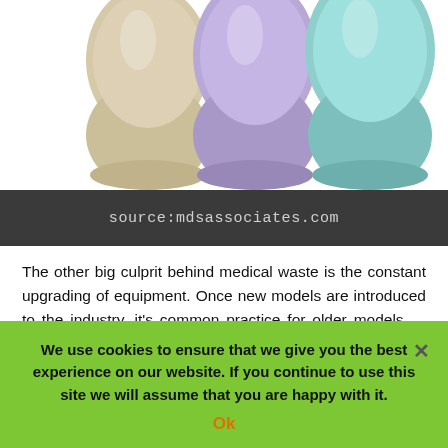[Figure (photo): Three medical/exam gloves side by side — beige/cream on the left, purple/lavender in the middle, teal/mint green on the right, photographed from wrist up against a white background.]
source:mdsassociates.com
The other big culprit behind medical waste is the constant upgrading of equipment. Once new models are introduced to the industry, it's common practice for older models — even those that still work perfectly — to be discarded in favor of the new ones. Even something as simple as a hospital changing equipment vendors can result in an incredible amount of equipment being thrown out due to infection protocol. As it
We use cookies to ensure that we give you the best experience on our website. If you continue to use this site we will assume that you are happy with it.
Ok